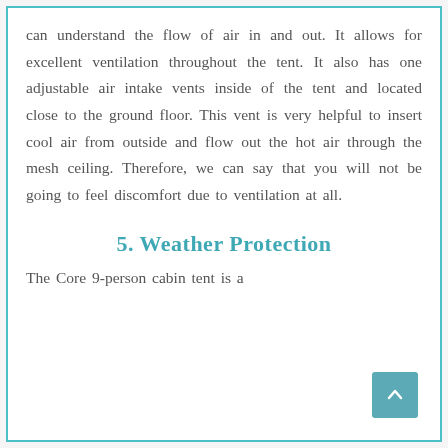can understand the flow of air in and out. It allows for excellent ventilation throughout the tent. It also has one adjustable air intake vents inside of the tent and located close to the ground floor. This vent is very helpful to insert cool air from outside and flow out the hot air through the mesh ceiling. Therefore, we can say that you will not be going to feel discomfort due to ventilation at all.
5. Weather Protection
The Core 9-person cabin tent is a